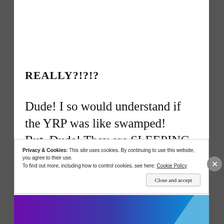REALLY?!?!?
Dude! I so would understand if the YRP was like swamped! But, Dude! They are SLEEPING in their Patrol Cars half the time!
Privacy & Cookies: This site uses cookies. By continuing to use this website, you agree to their use.
To find out more, including how to control cookies, see here: Cookie Policy
Close and accept